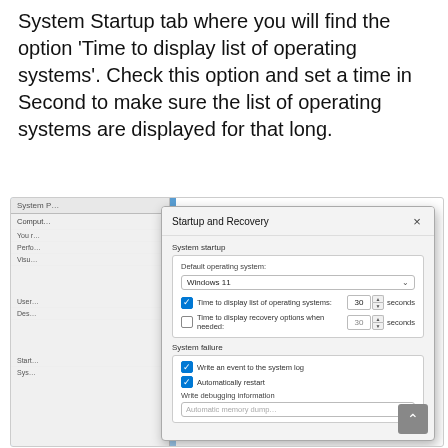System Startup tab where you will find the option 'Time to display list of operating systems'. Check this option and set a time in Second to make sure the list of operating systems are displayed for that long.
[Figure (screenshot): Screenshot of the 'Startup and Recovery' Windows dialog box showing System startup options (Default operating system: Windows 11, Time to display list of operating systems: 30 seconds checked, Time to display recovery options when needed: 30 seconds unchecked), and System failure section (Write an event to the system log checked, Automatically restart checked, Write debugging information: Automatic memory dump). Partially obscured System Properties window visible behind dialog.]